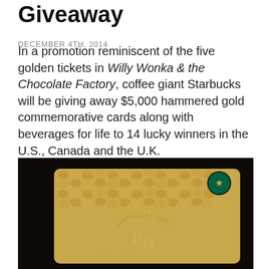Giveaway
DECEMBER 4TH, 2014
In a promotion reminiscent of the five golden tickets in Willy Wonka & the Chocolate Factory, coffee giant Starbucks will be giving away $5,000 hammered gold commemorative cards along with beverages for life to 14 lucky winners in the U.S., Canada and the U.K.
[Figure (photo): Hammered gold Starbucks exclusive card numbered 1/10, personalized with name JOHN SMITH, with Starbucks logo in top right corner, on dark background]